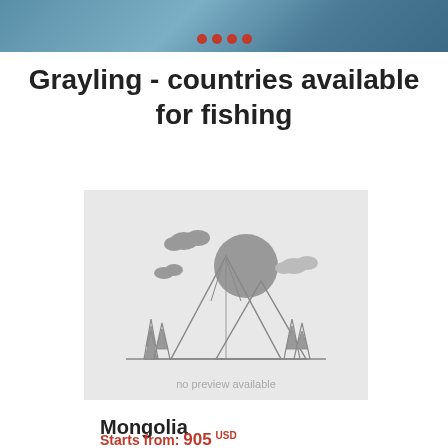Grayling - countries available for fishing
[Figure (illustration): Placeholder image with mountains, trees, sun and clouds illustration in gray tones with text 'no preview available']
Mongolia
Starts from: 905 USD